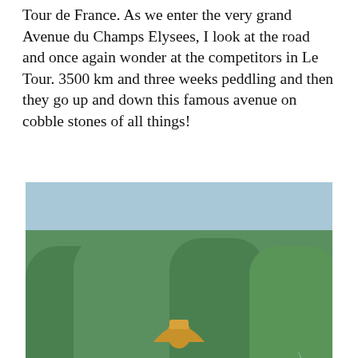Tour de France. As we enter the very grand Avenue du Champs Elysees, I look at the road and once again wonder at the competitors in Le Tour. 3500 km and three weeks peddling and then they go up and down this famous avenue on cobble stones of all things!
[Figure (photo): A ornate bronze and gold fountain sculpture in Paris featuring classical figures including a seated woman and other allegorical figures with water splashing around them. Lush green trees visible in the background.]
They love their fountains …
[Figure (photo): Bottom portion of another Paris street scene photo, partially visible.]